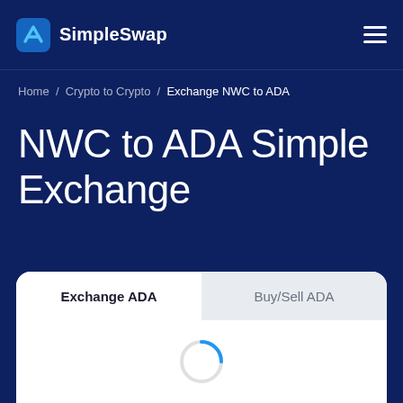SimpleSwap
Home / Crypto to Crypto / Exchange NWC to ADA
NWC to ADA Simple Exchange
Exchange ADA | Buy/Sell ADA
[Figure (other): Loading spinner animation (circular arc in blue) inside white exchange widget card]